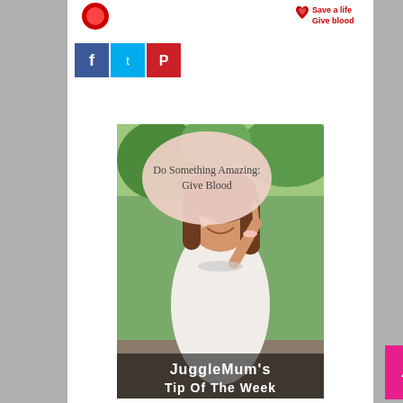[Figure (logo): Circular logo on top left, partially visible]
[Figure (logo): Save a life Give blood logo with red heart icon, top right]
[Figure (infographic): Social share buttons: Facebook (dark blue), Twitter (light blue), Pinterest (red)]
[Figure (photo): Photo of a smiling woman in a white dress pointing upward with one finger, outdoors with green trees. Speech bubble reads 'Do Something Amazing: Give Blood'. Bottom text reads 'JuggleMum's Tip Of The Week']
[Figure (other): Pink scroll-to-top button with upward arrow, bottom right corner]